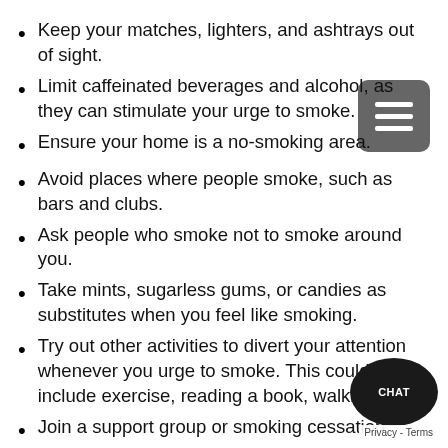Keep your matches, lighters, and ashtrays out of sight.
Limit caffeinated beverages and alcohol, as they can stimulate your urge to smoke.
Ensure your home is a no-smoking area.
Avoid places where people smoke, such as bars and clubs.
Ask people who smoke not to smoke around you.
Take mints, sugarless gums, or candies as substitutes when you feel like smoking.
Try out other activities to divert your attention whenever you urge to smoke. This could include exercise, reading a book, walking, etc.
Join a support group or smoking cessation